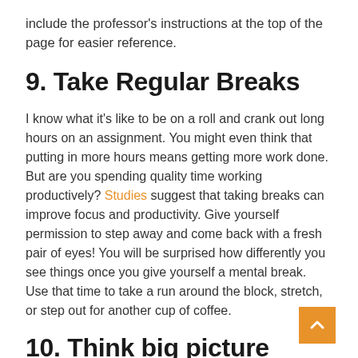include the professor's instructions at the top of the page for easier reference.
9. Take Regular Breaks
I know what it's like to be on a roll and crank out long hours on an assignment. You might even think that putting in more hours means getting more work done. But are you spending quality time working productively? Studies suggest that taking breaks can improve focus and productivity. Give yourself permission to step away and come back with a fresh pair of eyes! You will be surprised how differently you see things once you give yourself a mental break. Use that time to take a run around the block, stretch, or step out for another cup of coffee.
10. Think big picture